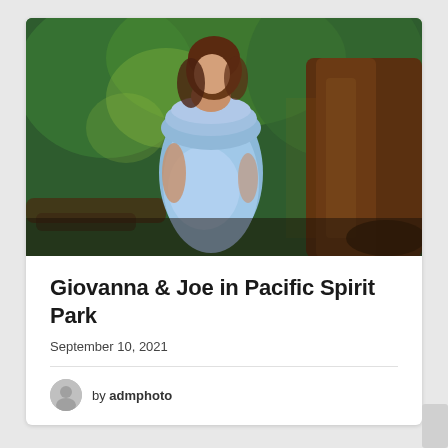[Figure (photo): Outdoor maternity photo of a pregnant woman in a light blue off-shoulder ruffled dress, standing in a forested park with sunlight filtering through trees and a large reddish-brown tree trunk in the background.]
Giovanna & Joe in Pacific Spirit Park
September 10, 2021
by admphoto